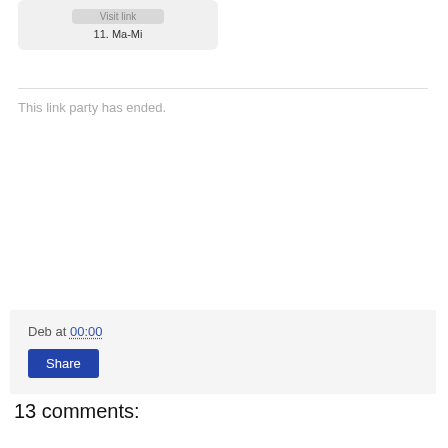[Figure (screenshot): Card widget with a 'Visit link' button (grayed out) and text '11. Ma-Mi']
This link party has ended.
Deb at 00:00
Share
13 comments: